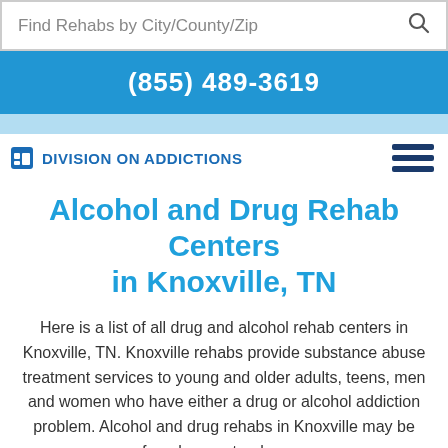Find Rehabs by City/County/Zip
(855) 489-3619
[Figure (logo): Division On Addictions logo with icon and hamburger menu]
Alcohol and Drug Rehab Centers in Knoxville, TN
Here is a list of all drug and alcohol rehab centers in Knoxville, TN. Knoxville rehabs provide substance abuse treatment services to young and older adults, teens, men and women who have either a drug or alcohol addiction problem. Alcohol and drug rehabs in Knoxville may be free, low-cost or luxury.